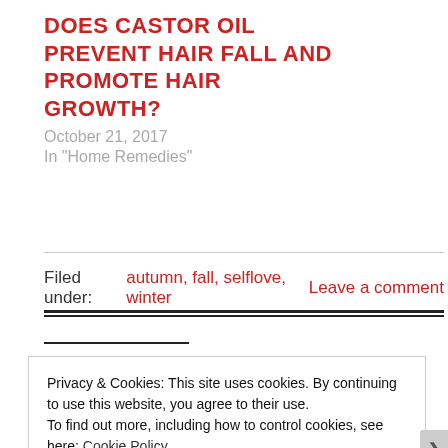DOES CASTOR OIL PREVENT HAIR FALL AND PROMOTE HAIR GROWTH?
October 21, 2017
In "Home Remedies"
Filed under: autumn, fall, selflove, winter    Leave a comment
Privacy & Cookies: This site uses cookies. By continuing to use this website, you agree to their use.
To find out more, including how to control cookies, see here: Cookie Policy
Close and accept